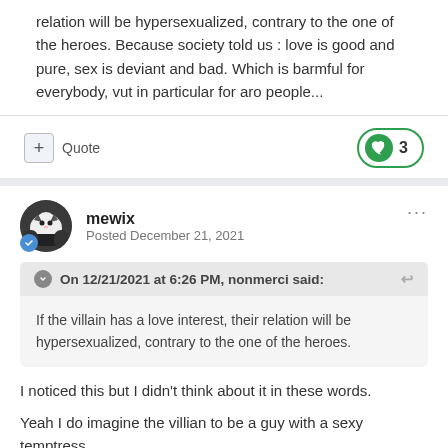relation will be hypersexualized, contrary to the one of the heroes. Because society told us : love is good and pure, sex is deviant and bad. Which is barmful for everybody, vut in particular for aro people...
+ Quote   ❤ 3
mewix
Posted December 21, 2021
On 12/21/2021 at 6:26 PM, nonmerci said:
If the villain has a love interest, their relation will be hypersexualized, contrary to the one of the heroes.
I noticed this but I didn't think about it in these words.
Yeah I do imagine the villian to be a guy with a sexy temptress